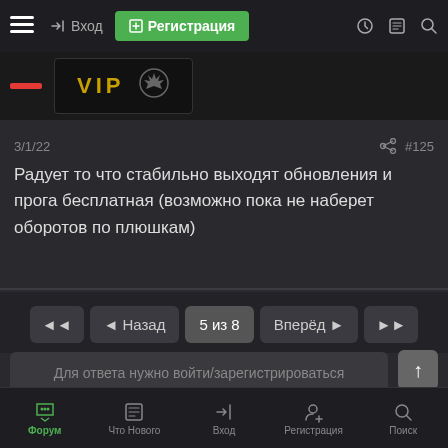☰  →) Вход  [+] Регистрация
[Figure (screenshot): VIP banner with yellow VIP text and eagle emblem on dark background]
3/1/22  #125
Радует то что стабильно выходят обновления и прога бесплатная (возможно пока не наберет оборотов по плюшкам)
◄◄  ◄ Назад  5 из 8  Вперёд ►  ►►
Для ответа нужно войти/зарегистрироваться
··· Похожие Темы
Форум  Что Нового  Вход  Регистрация  Поиск